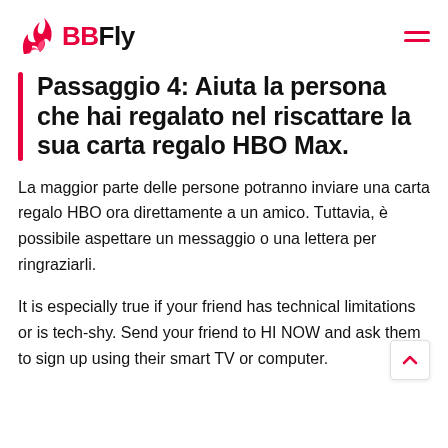BBFly
Passaggio 4: Aiuta la persona che hai regalato nel riscattare la sua carta regalo HBO Max.
La maggior parte delle persone potranno inviare una carta regalo HBO ora direttamente a un amico. Tuttavia, è possibile aspettare un messaggio o una lettera per ringraziarli.
It is especially true if your friend has technical limitations or is tech-shy. Send your friend to HI NOW and ask them to sign up using their smart TV or computer.